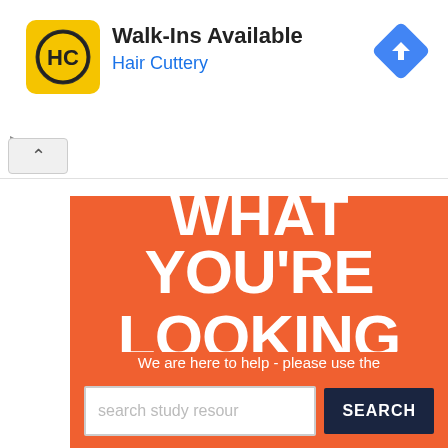[Figure (screenshot): Hair Cuttery advertisement banner with yellow logo, 'Walk-Ins Available' text, blue 'Hair Cuttery' subtitle, and a blue diamond navigation arrow icon on the right]
WHAT YOU'RE LOOKING FOR?
We are here to help - please use the search box below.
search study resour
SEARCH